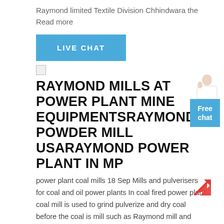Raymond limited Textile Division Chhindwara the Read more
[Figure (other): Live Chat button — blue rectangular button with white text 'LIVE CHAT']
[Figure (other): Small broken/placeholder image icon]
RAYMOND MILLS AT POWER PLANT MINE EQUIPMENTSRAYMOND POWDER MILL USARAYMOND POWER PLANT IN MP
power plant coal mills 18 Sep Mills and pulverisers for coal and oil power plants In coal fired power plant coal mill is used to grind pulverize and dry coal before the coal is mill such as Raymond mill and vertical mill can pulverize the coal into particlRaymond Mill Maintenance Crusher Mills Cone Raymond mill is a very important machine in powder plant Raymond mill machine is good for sale in USA Raymond
[Figure (illustration): Person in white coat with blue chat box overlay showing 'Free chat']
[Figure (other): Red upward-right arrow icon]